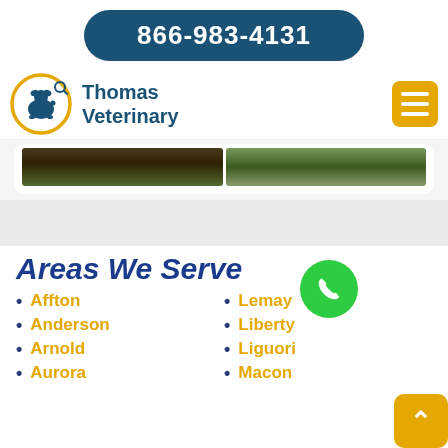866-983-4131
[Figure (logo): Thomas Veterinary logo with orange circle containing blue dog/pet silhouette and blue text 'Thomas Veterinary']
[Figure (photo): Two partial outdoor/facility photos at bottom of a card element]
Areas We Serve
Affton
Anderson
Arnold
Aurora
Lemay
Liberty
Liguori
Macon